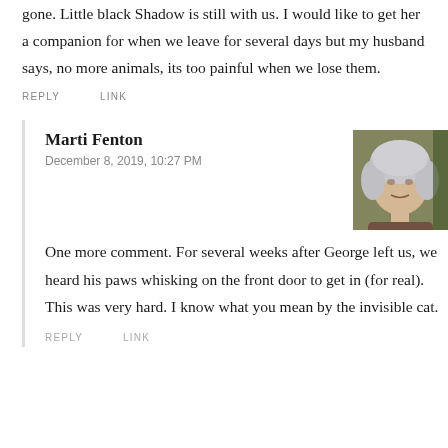gone. Little black Shadow is still with us. I would like to get her a companion for when we leave for several days but my husband says, no more animals, its too painful when we lose them.
REPLY   LINK
Marti Fenton
December 8, 2019, 10:27 PM
[Figure (photo): Profile photo of Marti Fenton, a woman with white/silver hair]
One more comment. For several weeks after George left us, we heard his paws whisking on the front door to get in (for real). This was very hard. I know what you mean by the invisible cat.
REPLY   LINK